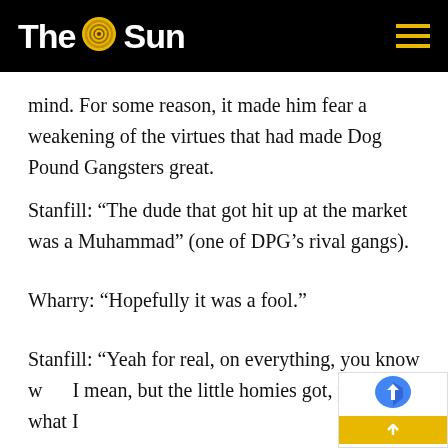The Sun
mind. For some reason, it made him fear a weakening of the virtues that had made Dog Pound Gangsters great.
Stanfill: “The dude that got hit up at the market was a Muhammad” (one of DPG’s rival gangs).
Wharry: “Hopefully it was a fool.”
Stanfill: “Yeah for real, on everything, you know what I mean, but the little homies got, you know what I mean, they pretty brave and they were... (N-word)’s ill to...